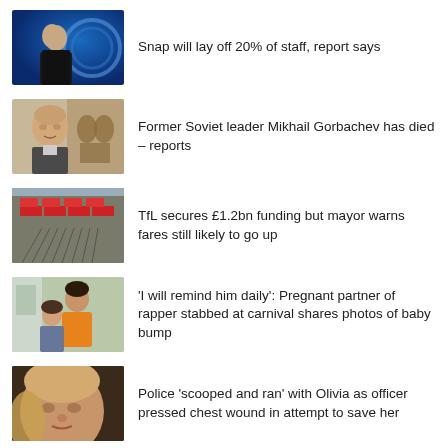[Figure (photo): Man in black top against blue background with circular graphic]
Snap will lay off 20% of staff, report says
[Figure (photo): Older man with balding head, coat of arms/crest in background]
Former Soviet leader Mikhail Gorbachev has died – reports
[Figure (photo): Aerial view of red trains in a rail yard]
TfL secures £1.2bn funding but mayor warns fares still likely to go up
[Figure (photo): Man and young girl smiling, man in orange shirt]
'I will remind him daily': Pregnant partner of rapper stabbed at carnival shares photos of baby bump
[Figure (photo): Close-up of young child's face with light coloring]
Police 'scooped and ran' with Olivia as officer pressed chest wound in attempt to save her